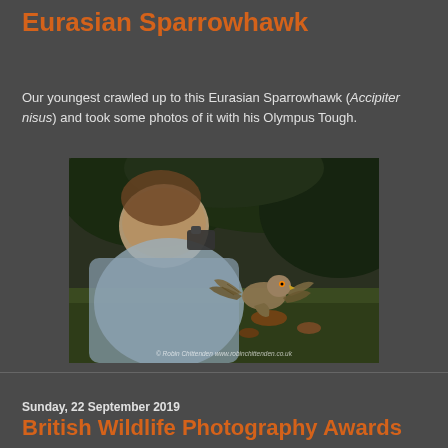Eurasian Sparrowhawk
Our youngest crawled up to this Eurasian Sparrowhawk (Accipiter nisus) and took some photos of it with his Olympus Tough.
[Figure (photo): A child lying on the ground photographing a Eurasian Sparrowhawk bird with wings spread, in a garden/natural setting. Copyright Robin Chittenden, www.robinchittenden.co.uk]
Sunday, 22 September 2019
British Wildlife Photography Awards